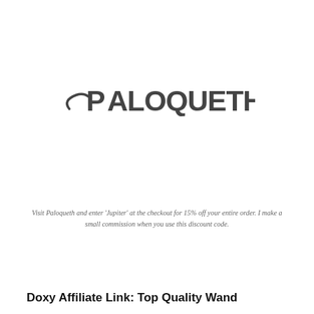[Figure (logo): Paloqueth brand logo in dark grey stylized lettering]
Visit Paloqueth and enter 'Jupiter' at the checkout for 15% off your entire order. I make a small commission when you use this discount code.
Doxy Affiliate Link: Top Quality Wand